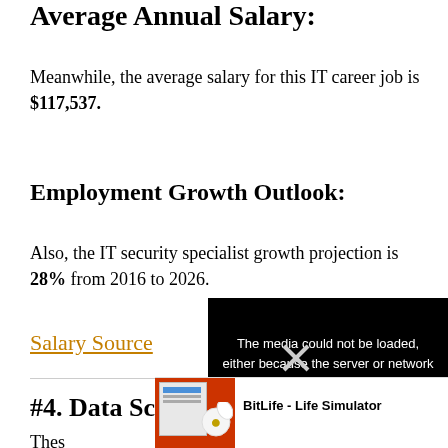Average Annual Salary:
Meanwhile, the average salary for this IT career job is $117,537.
Employment Growth Outlook:
Also, the IT security specialist growth projection is 28% from 2016 to 2026.
Salary Source
#4. Data Scientist
Thes...a